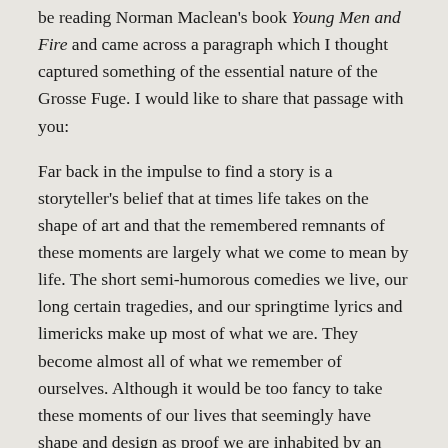be reading Norman Maclean's book Young Men and Fire and came across a paragraph which I thought captured something of the essential nature of the Grosse Fuge. I would like to share that passage with you:
Far back in the impulse to find a story is a storyteller's belief that at times life takes on the shape of art and that the remembered remnants of these moments are largely what we come to mean by life. The short semi-humorous comedies we live, our long certain tragedies, and our springtime lyrics and limericks make up most of what we are. They become almost all of what we remember of ourselves. Although it would be too fancy to take these moments of our lives that seemingly have shape and design as proof we are inhabited by an impulse to art, yet deep within us is a counterimpulse to the id or whatever name is presently attached to the disorderly, the violent, the catastrophic both in and outside us. As a feeling, this counterimpulse to the id is a kind of craving for sanity, for things belonging to each other, and results in a comfortable feeling when the universe is seen to take a garment from the